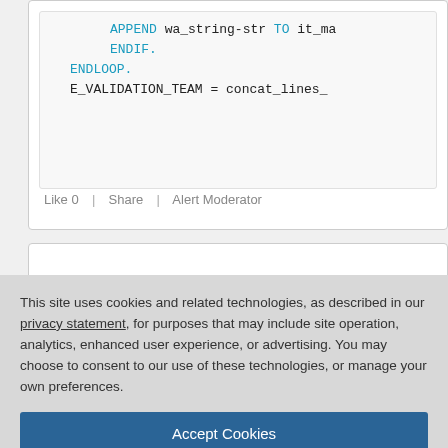[Figure (screenshot): Code block showing ABAP code snippet with APPEND wa_string-str TO it_ma, ENDIF., ENDLOOP., E_VALIDATION_TEAM = concat_lines_ keywords in teal/blue]
Like 0  |  Share  |  Alert Moderator
This site uses cookies and related technologies, as described in our privacy statement, for purposes that may include site operation, analytics, enhanced user experience, or advertising. You may choose to consent to our use of these technologies, or manage your own preferences.
Accept Cookies
More Information
Privacy Policy | Powered by: TrustArc